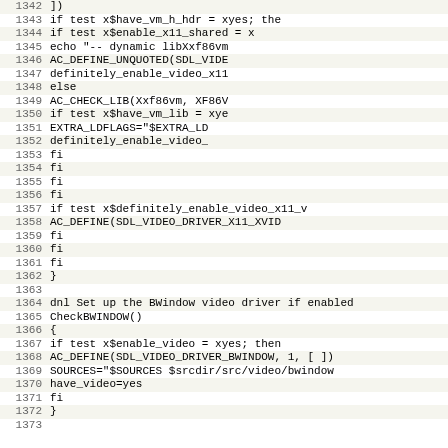Source code listing, lines 1342-1373, shell/autoconf script